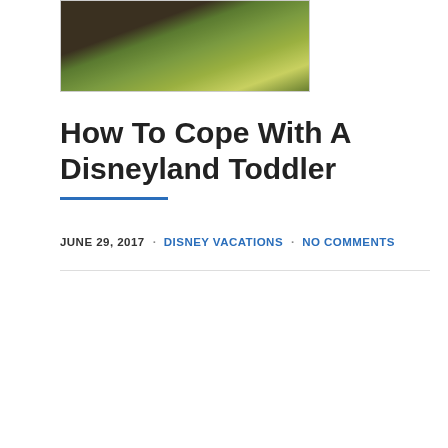[Figure (photo): Partial photo of a person in green foliage/plants outdoors, cropped at the top of the page]
How To Cope With A Disneyland Toddler
JUNE 29, 2017 · DISNEY VACATIONS · NO COMMENTS